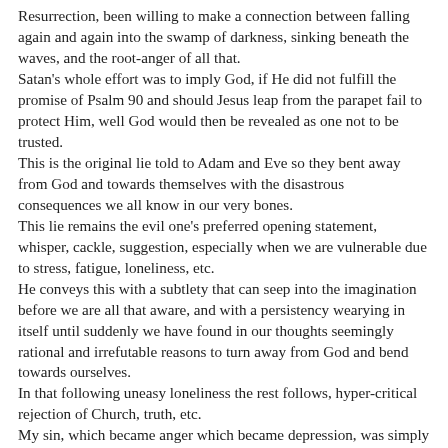Resurrection, been willing to make a connection between falling again and again into the swamp of darkness, sinking beneath the waves, and the root-anger of all that. Satan's whole effort was to imply God, if He did not fulfill the promise of Psalm 90 and should Jesus leap from the parapet fail to protect Him, well God would then be revealed as one not to be trusted. This is the original lie told to Adam and Eve so they bent away from God and towards themselves with the disastrous consequences we all know in our very bones. This lie remains the evil one's preferred opening statement, whisper, cackle, suggestion, especially when we are vulnerable due to stress, fatigue, loneliness, etc. He conveys this with a subtlety that can seep into the imagination before we are all that aware, and with a persistency wearying in itself until suddenly we have found in our thoughts seemingly rational and irrefutable reasons to turn away from God and bend towards ourselves. In that following uneasy loneliness the rest follows, hyper-critical rejection of Church, truth, etc. My sin, which became anger which became depression, was simply in not admitting I had tried to become God and chief operating officer of My universe. My job and confirm